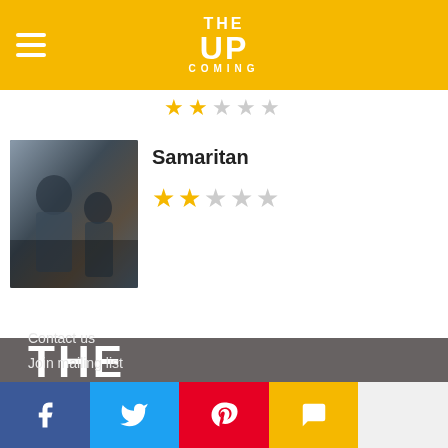THE UPCOMING
[Figure (illustration): Partial star rating row, approximately 4-5 gold stars shown]
[Figure (photo): Movie still from Samaritan showing two characters outdoors]
Samaritan
[Figure (illustration): Star rating: 2 out of 5 stars (2 gold, 3 grey)]
[Figure (logo): THE UPCOMING large white logo on dark grey background]
Contact us
Join mailing list
[Figure (illustration): Social media bar with Facebook, Twitter, Pinterest, Chat/Bubble icons]